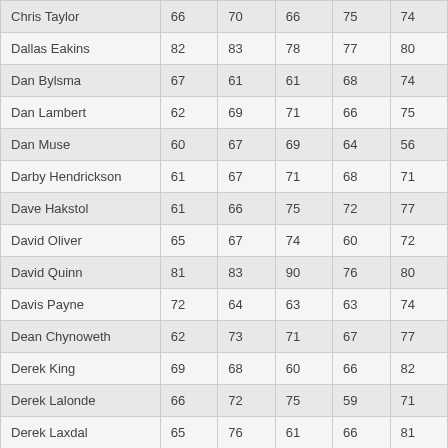| Chris Taylor | 66 | 70 | 66 | 75 | 74 |
| Dallas Eakins | 82 | 83 | 78 | 77 | 80 |
| Dan Bylsma | 67 | 61 | 61 | 68 | 74 |
| Dan Lambert | 62 | 69 | 71 | 66 | 75 |
| Dan Muse | 60 | 67 | 69 | 64 | 56 |
| Darby Hendrickson | 61 | 67 | 71 | 68 | 71 |
| Dave Hakstol | 61 | 66 | 75 | 72 | 77 |
| David Oliver | 65 | 67 | 74 | 60 | 72 |
| David Quinn | 81 | 83 | 90 | 76 | 80 |
| Davis Payne | 72 | 64 | 63 | 63 | 74 |
| Dean Chynoweth | 62 | 73 | 71 | 67 | 77 |
| Derek King | 69 | 68 | 60 | 66 | 82 |
| Derek Lalonde | 66 | 72 | 75 | 59 | 71 |
| Derek Laxdal | 65 | 76 | 61 | 66 | 81 |
| Derek MacKenzie | 61 | 64 | 73 | 69 | 57 |
| Don Granato | 62 | 67 | 65 | 71 | 72 |